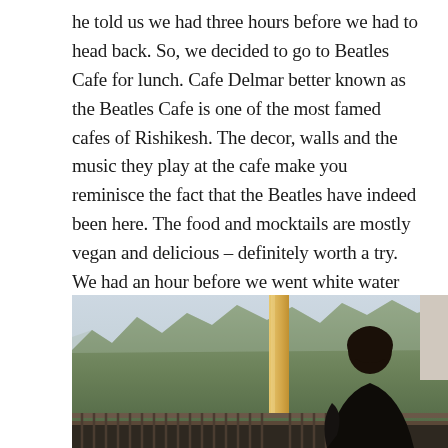he told us we had three hours before we had to head back. So, we decided to go to Beatles Cafe for lunch. Cafe Delmar better known as the Beatles Cafe is one of the most famed cafes of Rishikesh. The decor, walls and the music they play at the cafe make you reminisce the fact that the Beatles have indeed been here. The food and mocktails are mostly vegan and delicious – definitely worth a try. We had an hour before we went white water rafting and thank God we included this in our itinerary – the experience here was most peaceful, what with the view and the ambience. Bottom line, I am definitely going back there.
[Figure (photo): A person with dark hair viewed from behind, sitting or standing at a railing/balcony overlooking a lush green forested hillside with a tan wooden post visible. The sky is hazy and light. Bottom shows a dark metal fence/railing.]